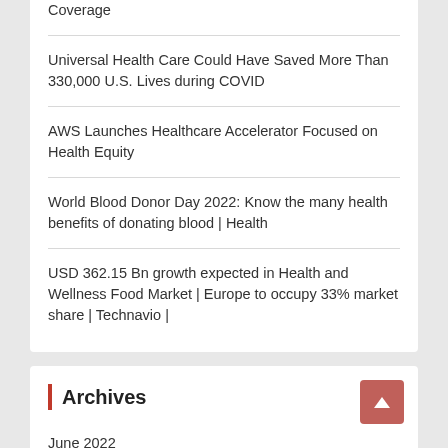Coverage
Universal Health Care Could Have Saved More Than 330,000 U.S. Lives during COVID
AWS Launches Healthcare Accelerator Focused on Health Equity
World Blood Donor Day 2022: Know the many health benefits of donating blood | Health
USD 362.15 Bn growth expected in Health and Wellness Food Market | Europe to occupy 33% market share | Technavio |
Archives
June 2022
May 2022
April 2022